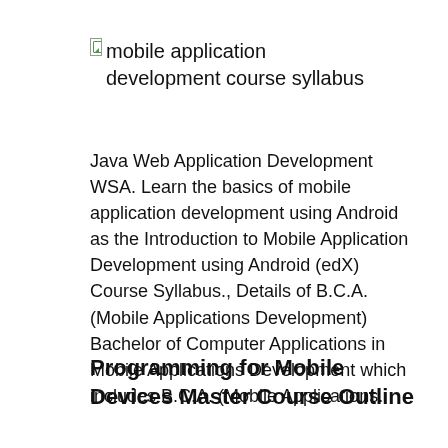[Figure (other): Broken image placeholder with alt text 'mobile application development course syllabus']
Java Web Application Development WSA. Learn the basics of mobile application development using Android as the Introduction to Mobile Application Development using Android (edX) Course Syllabus., Details of B.C.A. (Mobile Applications Development) Bachelor of Computer Applications in Mobile Applications Development which includes B.C.A. (Mobile Applications.
Programming for Mobile Devices Master Course Outline